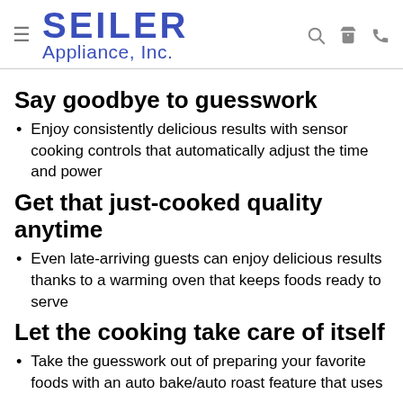SEILER Appliance, Inc.
Say goodbye to guesswork
Enjoy consistently delicious results with sensor cooking controls that automatically adjust the time and power
Get that just-cooked quality anytime
Even late-arriving guests can enjoy delicious results thanks to a warming oven that keeps foods ready to serve
Let the cooking take care of itself
Take the guesswork out of preparing your favorite foods with an auto bake/auto roast feature that uses